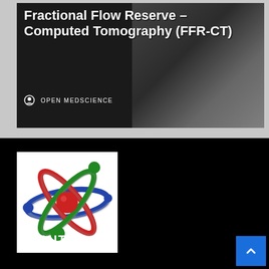Fractional Flow Reserve – Computed Tomography (FFR-CT)
OPEN MEDSCIENCE
[Figure (logo): Open MedScience atomic orbit logo with red, green, and blue orbital rings and a red central nucleus on white background]
ABOUT